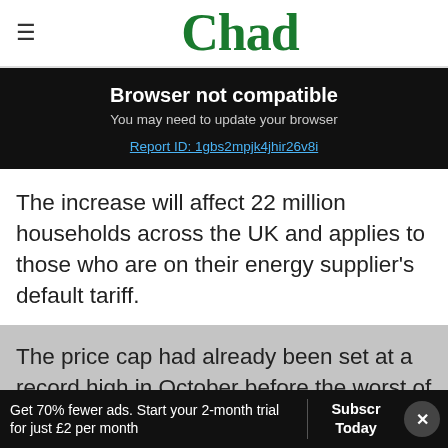Chad
Browser not compatible
You may need to update your browser
Report ID: 1gbs2mpjk4jhir26v8i
The increase will affect 22 million households across the UK and applies to those who are on their energy supplier's default tariff.
The price cap had already been set at a record high in October before the worst of the gas
Get 70% fewer ads. Start your 2-month trial for just £2 per month
Subscribe Today